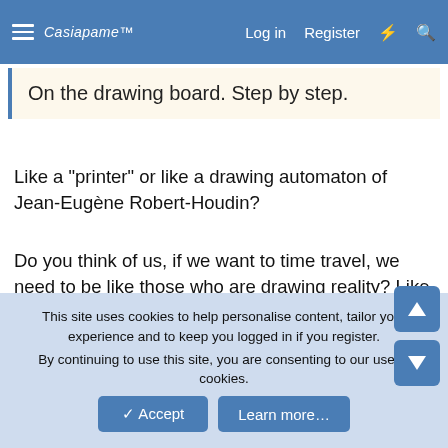≡  Casiapame™  Log in  Register  ⚡  🔍
On the drawing board. Step by step.
Like a "printer" or like a drawing automaton of Jean-Eugène Robert-Houdin?
Do you think of us, if we want to time travel, we need to be like those who are drawing reality? Like "Simon in the Land of Chalk Drawings" not like "La Linea" ... or ... ;) ... hm but if time doesn't exist how we can travel through time? If it is not existing it is not even conceptual, or it is in the world of IDEAS that creates the butterfly effect that creates cymatics that in the end creates the material form of all we can imagine all the way through vertical densities ... ? Like in 7th
This site uses cookies to help personalise content, tailor your experience and to keep you logged in if you register.
By continuing to use this site, you are consenting to our use of cookies.
✓ Accept  Learn more…